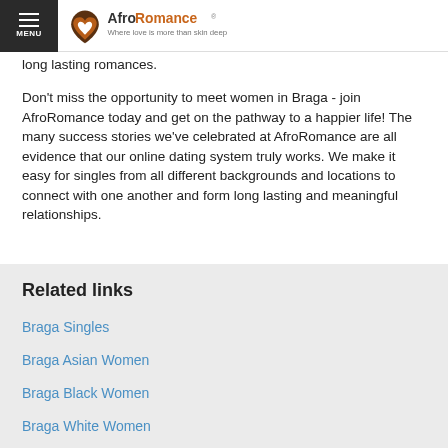MENU | AfroRomance® Where love is more than skin deep
long lasting romances.
Don't miss the opportunity to meet women in Braga - join AfroRomance today and get on the pathway to a happier life! The many success stories we've celebrated at AfroRomance are all evidence that our online dating system truly works. We make it easy for singles from all different backgrounds and locations to connect with one another and form long lasting and meaningful relationships.
Related links
Braga Singles
Braga Asian Women
Braga Black Women
Braga White Women